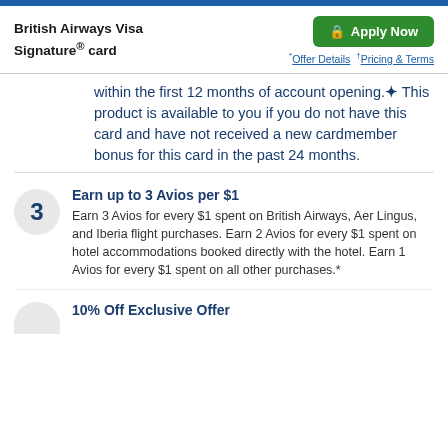British Airways Visa Signature® card
within the first 12 months of account opening.✦ This product is available to you if you do not have this card and have not received a new cardmember bonus for this card in the past 24 months.
Earn up to 3 Avios per $1
Earn 3 Avios for every $1 spent on British Airways, Aer Lingus, and Iberia flight purchases. Earn 2 Avios for every $1 spent on hotel accommodations booked directly with the hotel. Earn 1 Avios for every $1 spent on all other purchases.*
10% Off Exclusive Offer